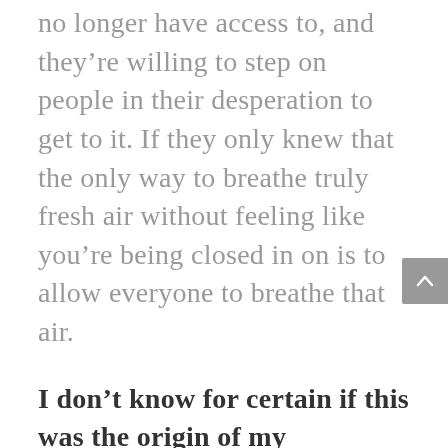no longer have access to, and they're willing to step on people in their desperation to get to it. If they only knew that the only way to breathe truly fresh air without feeling like you're being closed in on is to allow everyone to breathe that air.
I don't know for certain if this was the origin of my claustrophobia, but this is the first of it I remember...  My older brothers and their friends had constructed an elaborate maze out of hay bales. As kids on the farm, we